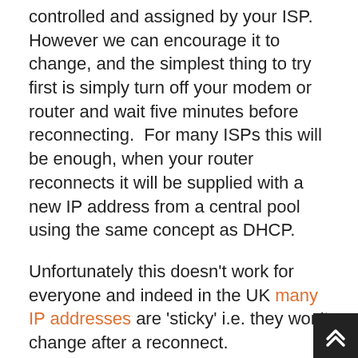controlled and assigned by your ISP.  However we can encourage it to change, and the simplest thing to try first is simply turn off your modem or router and wait five minutes before reconnecting.  For many ISPs this will be enough, when your router reconnects it will be supplied with a new IP address from a central pool using the same concept as DHCP.
Unfortunately this doesn't work for everyone and indeed in the UK many IP addresses are 'sticky' i.e. they won't change after a reconnect.
If this doesn't work then you'll need to reset your connection overnight, try switching everything off and dropping your connection then enabling it again in the morning.  This may be enough for the original IP address to be released and a new one assigned.  The idea is that the original IP address will be